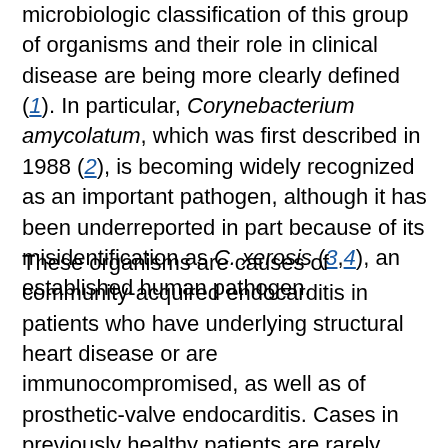microbiologic classification of this group of organisms and their role in clinical disease are being more clearly defined (1). In particular, Corynebacterium amycolatum, which was first described in 1988 (2), is becoming widely recognized as an important pathogen, although it has been underreported in part because of its misidentification as C. xerosis (3,4), an established human pathogen.
These organisms are causes of community-acquired endocarditis in patients who have underlying structural heart disease or are immunocompromised, as well as of prosthetic-valve endocarditis. Cases in previously healthy patients are rarely described (5,6). Hospital-acquired bacterial endocarditis accounts for 7.5% to 29% of cases of endocarditis in tertiary-care hospitals and is strongly associated with infection of indwelling intravascular lines (7). Common causative organisms include Staphylococcus aureus